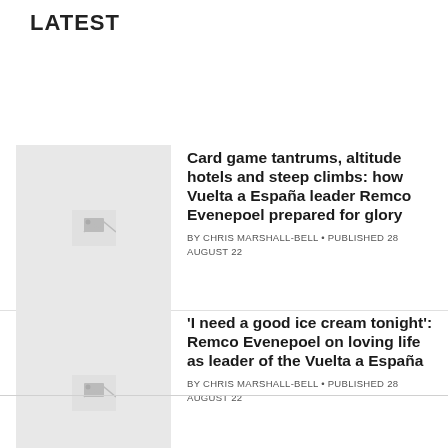LATEST
[Figure (photo): Placeholder thumbnail image for article 1]
Card game tantrums, altitude hotels and steep climbs: how Vuelta a España leader Remco Evenepoel prepared for glory
BY CHRIS MARSHALL-BELL • PUBLISHED 28 AUGUST 22
[Figure (photo): Placeholder thumbnail image for article 2]
'I need a good ice cream tonight': Remco Evenepoel on loving life as leader of the Vuelta a España
BY CHRIS MARSHALL-BELL • PUBLISHED 28 AUGUST 22